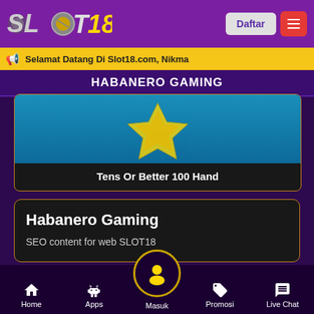[Figure (screenshot): SLOT18 logo in header]
Daftar
Selamat Datang Di Slot18.com, Nikma
HABANERO GAMING
[Figure (screenshot): Game thumbnail showing Tens Or Better 100 Hand with blue star graphic]
Tens Or Better 100 Hand
Habanero Gaming
SEO content for web SLOT18
Home  Apps  Masuk  Promosi  Live Chat